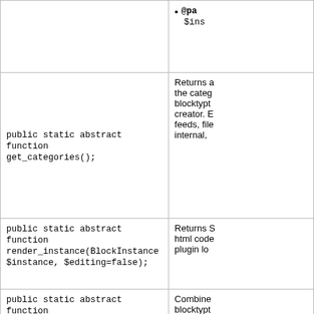| Method/Function | Description |
| --- | --- |
|  | @param ... $instance |
| public static abstract function get_categories(); | Returns a the categ blocktype creator. E feeds, file internal, |
| public static abstract function render_instance(BlockInstance $instance, $editing=false); | Returns S html code plugin lo |
| public static abstract function artefactchooser_element($default=null) | Combine blocktype |
| public static function delete_instance(BlockInstance $instance) { } |  |
| public static function | This f |